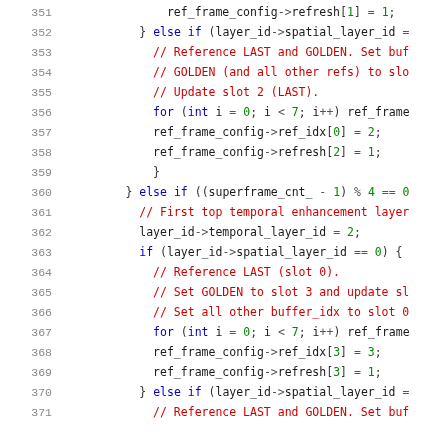Source code listing, lines 351-371, C++ code for video encoding reference frame configuration
351    ref_frame_config->refresh[1] = 1;
352    } else if (layer_id->spatial_layer_id =
353    // Reference LAST and GOLDEN. Set buf
354    // GOLDEN (and all other refs) to slo
355    // Update slot 2 (LAST).
356    for (int i = 0; i < 7; i++) ref_frame
357    ref_frame_config->ref_idx[0] = 2;
358    ref_frame_config->refresh[2] = 1;
359    }
360    } else if ((superframe_cnt_ - 1) % 4 == 0
361    // First top temporal enhancement layer
362    layer_id->temporal_layer_id = 2;
363    if (layer_id->spatial_layer_id == 0) {
364    // Reference LAST (slot 0).
365    // Set GOLDEN to slot 3 and update sl
366    // Set all other buffer_idx to slot 0
367    for (int i = 0; i < 7; i++) ref_frame
368    ref_frame_config->ref_idx[3] = 3;
369    ref_frame_config->refresh[3] = 1;
370    } else if (layer_id->spatial_layer_id =
371    // Reference LAST and GOLDEN. Set buf